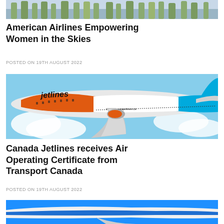[Figure (photo): Partial top image of airplane or building with trees, cropped at top]
American Airlines Empowering Women in the Skies
POSTED ON 19TH AUGUST 2022
[Figure (photo): Canada Jetlines aircraft in orange and blue livery with text 'jetlines' and 'www.canadajetlines.ca', flying through clouds]
Canada Jetlines receives Air Operating Certificate from Transport Canada
POSTED ON 19TH AUGUST 2022
[Figure (photo): Partial bottom image of a blue and white airplane, partially cropped]